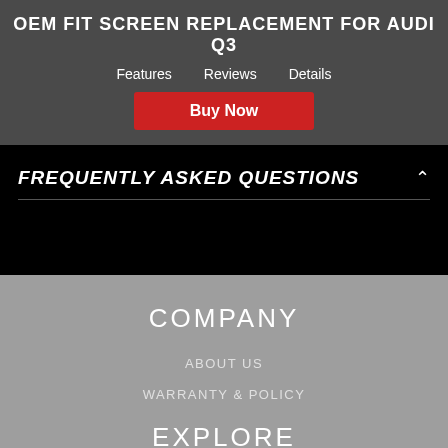OEM FIT SCREEN REPLACEMENT FOR AUDI Q3
Features
Reviews
Details
Buy Now
FREQUENTLY ASKED QUESTIONS
COMPANY
ABOUT US
WARRANTY & POLICY
EXPLORE